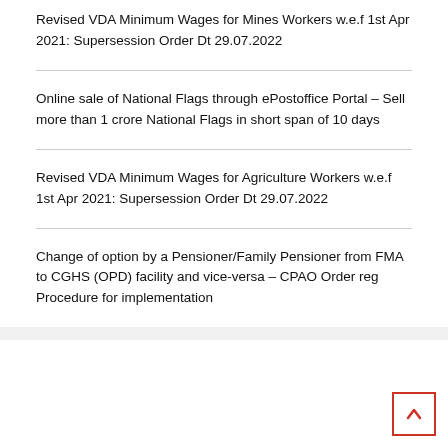Revised VDA Minimum Wages for Mines Workers w.e.f 1st Apr 2021: Supersession Order Dt 29.07.2022
Online sale of National Flags through ePostoffice Portal – Sell more than 1 crore National Flags in short span of 10 days
Revised VDA Minimum Wages for Agriculture Workers w.e.f 1st Apr 2021: Supersession Order Dt 29.07.2022
Change of option by a Pensioner/Family Pensioner from FMA to CGHS (OPD) facility and vice-versa – CPAO Order reg Procedure for implementation